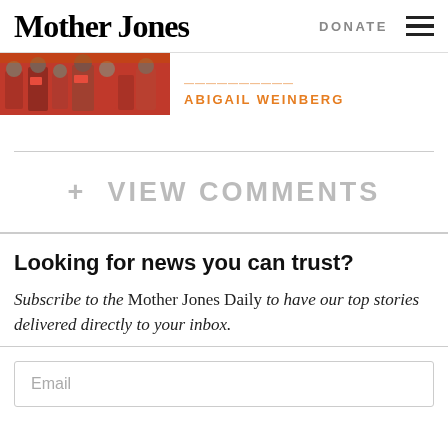Mother Jones | DONATE ≡
[Figure (photo): Photo strip showing people in red shirts at a protest/rally, alongside author byline ABIGAIL WEINBERG in orange uppercase text]
+ VIEW COMMENTS
Looking for news you can trust?
Subscribe to the Mother Jones Daily to have our top stories delivered directly to your inbox.
Email